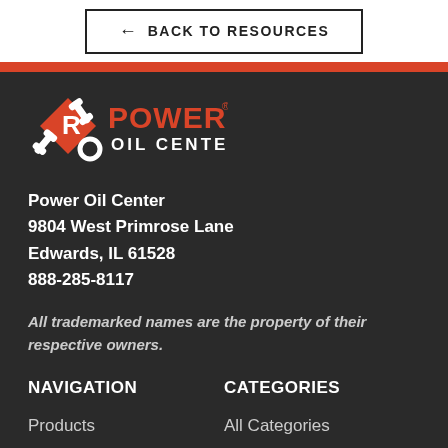← BACK TO RESOURCES
[Figure (logo): Power Oil Center logo with wrench and gear icon in orange/red and white, text POWER OIL CENTER]
Power Oil Center
9804 West Primrose Lane
Edwards, IL 61528
888-285-8117
All trademarked names are the property of their respective owners.
NAVIGATION
CATEGORIES
Products
All Categories
About Us
All Products
Our Brands
Oil Change Kits